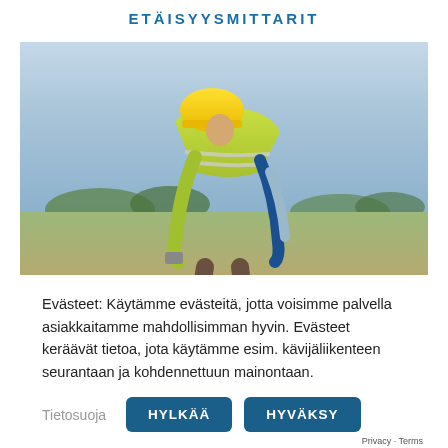ETÄISYYSMITTARIT
[Figure (photo): Construction worker in yellow hard hat and high-visibility vest bending over at a construction site, viewed from above, outdoors with trees and open land in background.]
Evästeet: Käytämme evästeitä, jotta voisimme palvella asiakkaitamme mahdollisimman hyvin. Evästeet keräävät tietoa, jota käytämme esim. kävijäliikenteen seurantaan ja kohdennettuun mainontaan.
Tietosuoja
HYLKÄÄ
HYVÄKSY